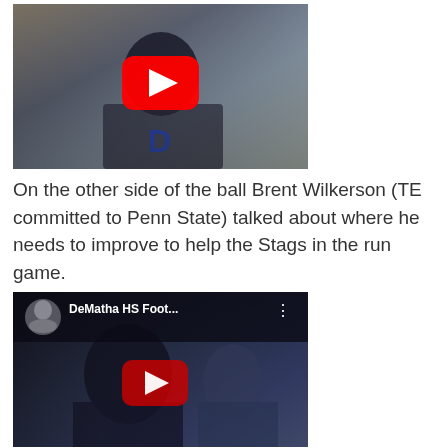[Figure (screenshot): YouTube video thumbnail showing a person in a blue DeMatha jersey sitting outdoors. A red YouTube play button is centered on the image.]
On the other side of the ball Brent Wilkerson (TE committed to Penn State) talked about where he needs to improve to help the Stags in the run game.
[Figure (screenshot): YouTube embedded video player showing 'DeMatha HS Foot...' channel with a person in a blue shirt outdoors. A red YouTube play button is centered on the darkened image.]